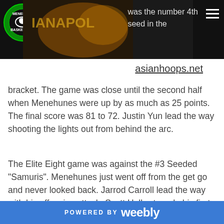was the number 4th seed in the asianhoops.net
bracket. The game was close until the second half when Menehunes were up by as much as 25 points. The final score was 81 to 72. Justin Yun lead the way shooting the lights out from behind the arc.
The Elite Eight game was against the #3 Seeded "Samuris". Menehunes just went off from the get go and never looked back. Jarrod Carroll lead the way with his offensive attack. Scott Holbert made his first career 3 pointer. Menehunes beat Samuri's to move to the Final Four. The score was Menehunes 81 defeated Samuri's
POWERED BY weebly